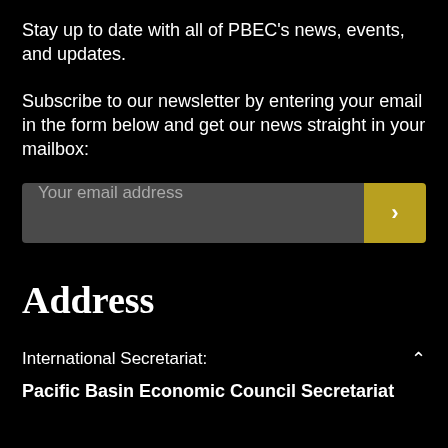Stay up to date with all of PBEC's news, events, and updates.
Subscribe to our newsletter by entering your email in the form below and get our news straight in your mailbox:
[Figure (other): Email subscription form with a dark grey input field labeled 'Your email address' and a gold/yellow submit button with a right arrow chevron.]
Address
International Secretariat:
Pacific Basin Economic Council Secretariat